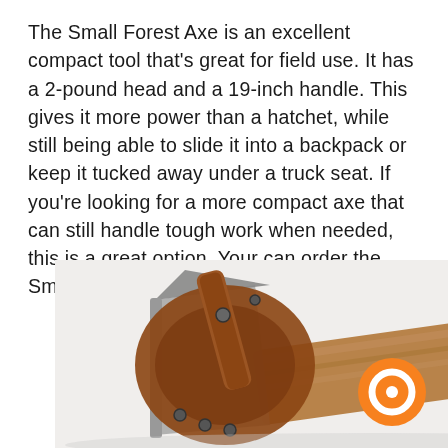The Small Forest Axe is an excellent compact tool that's great for field use. It has a 2-pound head and a 19-inch handle. This gives it more power than a hatchet, while still being able to slide it into a backpack or keep it tucked away under a truck seat. If you're looking for a more compact axe that can still handle tough work when needed, this is a great option. Your can order the Small Forest Axe here.
[Figure (photo): A small forest axe with a wooden handle and a brown leather sheath/guard covering the axe head, viewed from above at an angle. The axe head has a metal blade and the leather sheath is secured with metal rivets.]